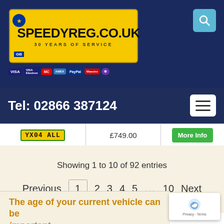[Figure (logo): SpeedyReg.co.uk logo on yellow number plate background with payment method icons (Visa, Visa Electron, Mastercard, American Express, PayPal, Maestro, Solo)]
Tel: 02866 387124
| YX04 ALL | £749.00 | More Info |
Showing 1 to 10 of 92 entries
Previous  1  2  3  4  5  ...  10  Next
The age of your current vehicle can be important.